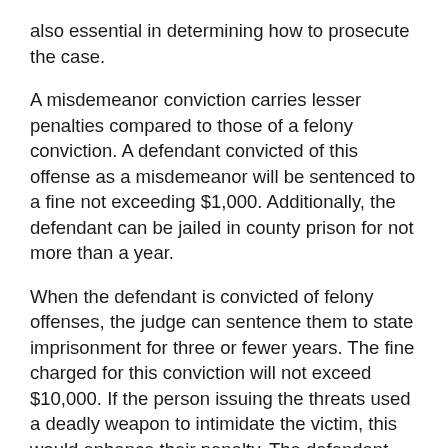also essential in determining how to prosecute the case.
A misdemeanor conviction carries lesser penalties compared to those of a felony conviction. A defendant convicted of this offense as a misdemeanor will be sentenced to a fine not exceeding $1,000. Additionally, the defendant can be jailed in county prison for not more than a year.
When the defendant is convicted of felony offenses, the judge can sentence them to state imprisonment for three or fewer years. The fine charged for this conviction will not exceed $10,000. If the person issuing the threats used a deadly weapon to intimidate the victim, this would enhance their penalty. The defendant will face an extra year of state imprisonment to be served consecutively.
Criminal threats are taken seriously by the law such that when a person makes repeated threats as is common in domestic settings, penalties are issued for